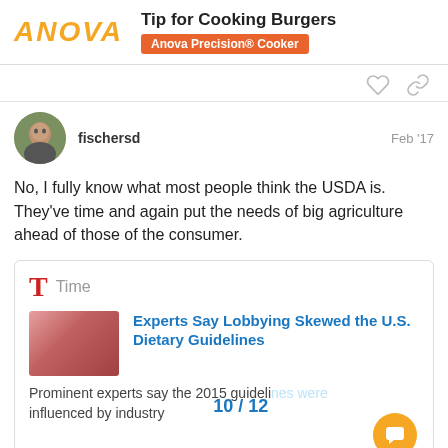ANOVA — Tip for Cooking Burgers — Anova Precision® Cooker
fischersd — Feb '17
No, I fully know what most people think the USDA is. They've time and again put the needs of big agriculture ahead of those of the consumer.
[Figure (screenshot): Link preview card from Time magazine: 'Experts Say Lobbying Skewed the U.S. Dietary Guidelines' with thumbnail and snippet 'Prominent experts say the 2015 guideli... influenced by industry']
10 / 12